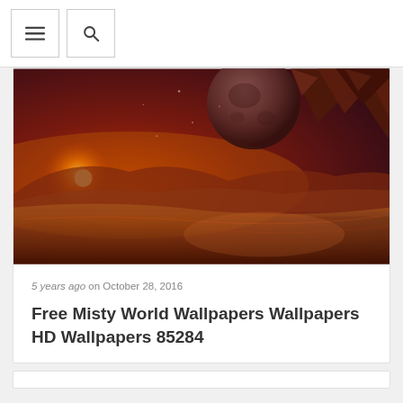≡  🔍
[Figure (illustration): A reddish-orange alien landscape with a large planet/moon in the dark sky, rocky terrain on the right, an orange glowing sun on the left, and a misty surface suggesting a liquid or dusty alien terrain.]
5 years ago on October 28, 2016
Free Misty World Wallpapers Wallpapers HD Wallpapers 85284